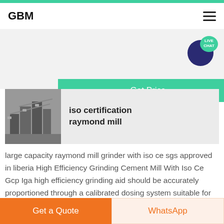GBM
[Figure (screenshot): Green Get Price button on grey background]
[Figure (photo): Industrial raymond mill machinery photo thumbnail]
iso certification raymond mill
large capacity raymond mill grinder with iso ce sgs approved in liberia High Efficiency Grinding Cement Mill With Iso Ce Gcp Iga high efficiency grinding aid should be accurately proportioned through a calibrated dosing system suitable for the
Get a Quote | WhatsApp